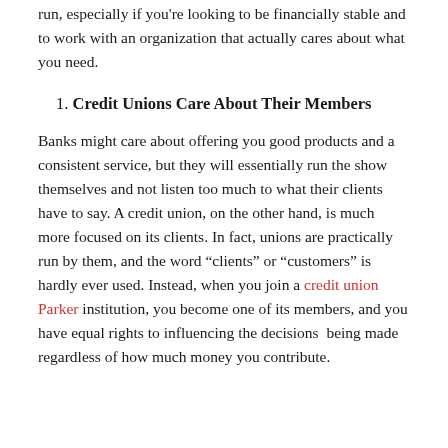run, especially if you're looking to be financially stable and to work with an organization that actually cares about what you need.
1. Credit Unions Care About Their Members
Banks might care about offering you good products and a consistent service, but they will essentially run the show themselves and not listen too much to what their clients have to say. A credit union, on the other hand, is much more focused on its clients. In fact, unions are practically run by them, and the word “clients” or “customers” is hardly ever used. Instead, when you join a credit union Parker institution, you become one of its members, and you have equal rights to influencing the decisions  being made regardless of how much money you contribute.